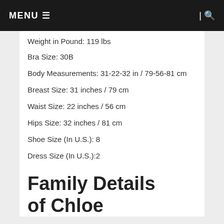MENU ☰ | 🔍
Weight in Pound: 119 lbs
Bra Size: 30B
Body Measurements: 31-22-32 in / 79-56-81 cm
Breast Size: 31 inches / 79 cm
Waist Size: 22 inches / 56 cm
Hips Size: 32 inches / 81 cm
Shoe Size (In U.S.): 8
Dress Size (In U.S.):2
Family Details of Chloe